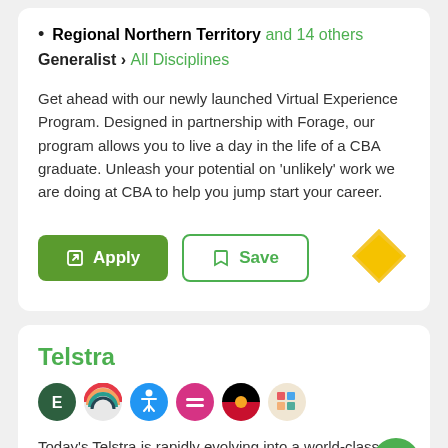Regional Northern Territory and 14 others
Generalist › All Disciplines
Get ahead with our newly launched Virtual Experience Program. Designed in partnership with Forage, our program allows you to live a day in the life of a CBA graduate. Unleash your potential on 'unlikely' work we are doing at CBA to help you jump start your career.
[Figure (logo): CBA yellow diamond logo]
Telstra
[Figure (other): Row of diversity and inclusion icon badges]
Today's Telstra is rapidly evolving into a world-class technology leader. And, with our customers at the heart